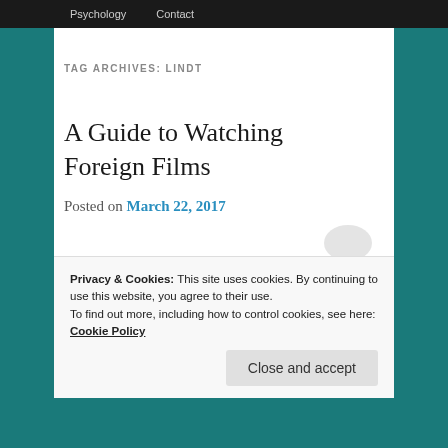Psychology  Contact
TAG ARCHIVES: LINDT
A Guide to Watching Foreign Films
Posted on March 22, 2017
Of course it doesn’t hurt to grow up in a European-American family. Where the
Privacy & Cookies: This site uses cookies. By continuing to use this website, you agree to their use.
To find out more, including how to control cookies, see here:
Cookie Policy
Close and accept